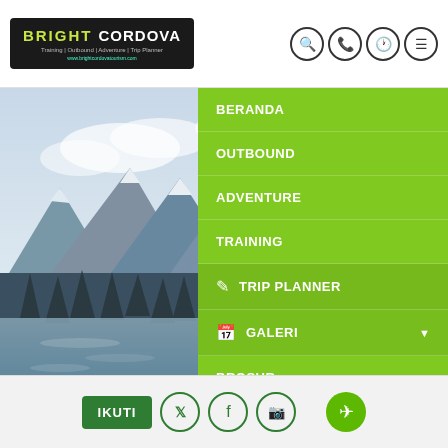[Figure (screenshot): Website screenshot of Bright Cordova travel agency showing navigation menu with items: BERANDA, OUTBOUND, ADVENTURE, TRAINING, TRIP PLANNER, GALERI, BROSUR. Background shows mountain lake landscape. Search fields for 'Cari paket...' and 'Durasi'. Bottom bar with IKUTI button and social icons.]
BRIGHT CORDOVA | Training | Outbound | Adventure | Trip Planner
BERANDA
OUTBOUND
ADVENTURE
TRAINING
TRIP PLANNER
GALERI
BROSUR
Cari paket...
Durasi
Home
IKUTI